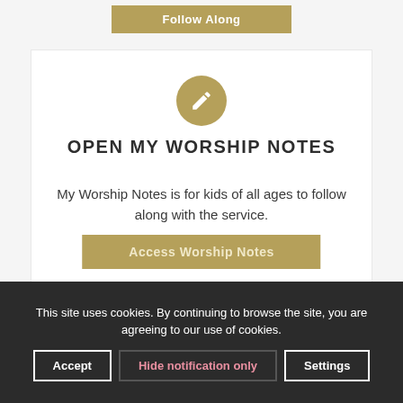[Figure (other): Gold/tan colored button labeled 'Follow Along' at top of page]
[Figure (other): Gold circle icon with pencil/edit symbol centered above card]
OPEN MY WORSHIP NOTES
My Worship Notes is for kids of all ages to follow along with the service.
[Figure (other): Gold button labeled 'Access Worship Notes']
This site uses cookies. By continuing to browse the site, you are agreeing to our use of cookies.
Accept | Hide notification only | Settings